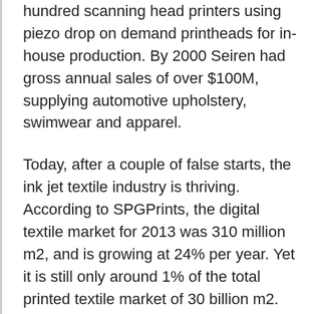hundred scanning head printers using piezo drop on demand printheads for in-house production. By 2000 Seiren had gross annual sales of over $100M, supplying automotive upholstery, swimwear and apparel.
Today, after a couple of false starts, the ink jet textile industry is thriving. According to SPGPrints, the digital textile market for 2013 was 310 million m2, and is growing at 24% per year. Yet it is still only around 1% of the total printed textile market of 30 billion m2. However, in 4 years time it is forecast to more than double to 733 million m2.
Ink jet textile printing offers rapid fulfilment of new designs, essential for the fast moving fashion industry, but also development of the